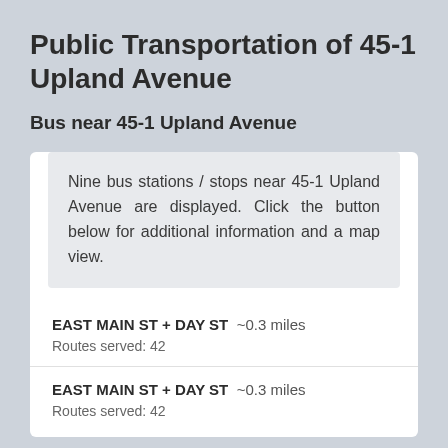Public Transportation of 45-1 Upland Avenue
Bus near 45-1 Upland Avenue
Nine bus stations / stops near 45-1 Upland Avenue are displayed. Click the button below for additional information and a map view.
EAST MAIN ST + DAY ST ~0.3 miles
Routes served: 42
EAST MAIN ST + DAY ST ~0.3 miles
Routes served: 42